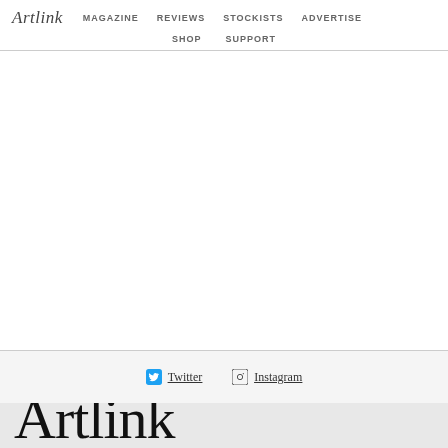Artlink | MAGAZINE  REVIEWS  STOCKISTS  ADVERTISE  SHOP  SUPPORT
Twitter  Instagram
Artlink